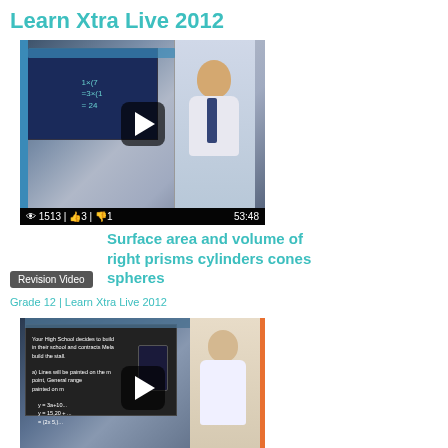Learn Xtra Live 2012
[Figure (screenshot): Video thumbnail showing a teacher in front of a whiteboard with math equations, with play button overlay. Stats bar shows: 1513 views, 3 likes, 1 dislike, duration 53:48]
Revision Video
Surface area and volume of right prisms cylinders cones spheres
Grade 12 | Learn Xtra Live 2012
[Figure (screenshot): Video thumbnail showing a teacher and student in front of a screen displaying a math problem about high school building construction with linear equations]